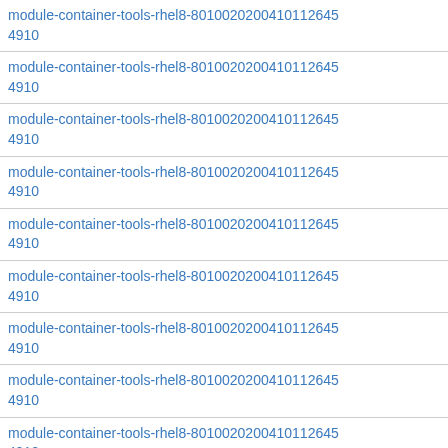module-container-tools-rhel8-8010020200410112645
4910
module-container-tools-rhel8-8010020200410112645
4910
module-container-tools-rhel8-8010020200410112645
4910
module-container-tools-rhel8-8010020200410112645
4910
module-container-tools-rhel8-8010020200410112645
4910
module-container-tools-rhel8-8010020200410112645
4910
module-container-tools-rhel8-8010020200410112645
4910
module-container-tools-rhel8-8010020200410112645
4910
module-container-tools-rhel8-8010020200410112645
4910